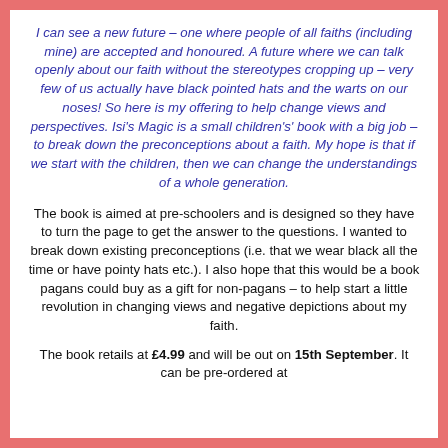I can see a new future – one where people of all faiths (including mine) are accepted and honoured. A future where we can talk openly about our faith without the stereotypes cropping up – very few of us actually have black pointed hats and the warts on our noses! So here is my offering to help change views and perspectives. Isi's Magic is a small children's' book with a big job – to break down the preconceptions about a faith. My hope is that if we start with the children, then we can change the understandings of a whole generation.
The book is aimed at pre-schoolers and is designed so they have to turn the page to get the answer to the questions. I wanted to break down existing preconceptions (i.e. that we wear black all the time or have pointy hats etc.). I also hope that this would be a book pagans could buy as a gift for non-pagans – to help start a little revolution in changing views and negative depictions about my faith.
The book retails at £4.99 and will be out on 15th September. It can be pre-ordered at